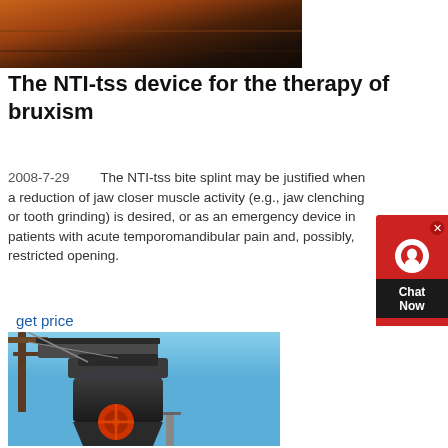[Figure (photo): Close-up photo of brown/orange surface, possibly wood or industrial material]
The NTI-tss device for the therapy of bruxism
2008-7-29    The NTI-tss bite splint may be justified when a reduction of jaw closer muscle activity (e.g., jaw clenching or tooth grinding) is desired, or as an emergency device in patients with acute temporomandibular pain and, possibly, restricted opening.
get price
[Figure (photo): Photo of industrial mining or crushing machinery with blue sky background, featuring a large cone crusher with red wheel and metal frame structure]